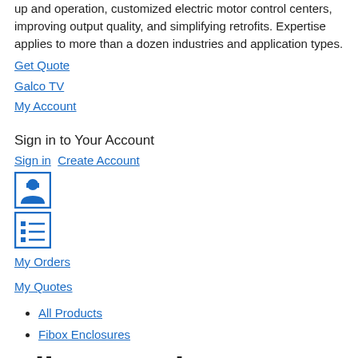up and operation, customized electric motor control centers, improving output quality, and simplifying retrofits. Expertise applies to more than a dozen industries and application types.
Get Quote
Galco TV
My Account
Sign in to Your Account
Sign in  Create Account
[Figure (other): Icon: person/account symbol in a blue-bordered box]
[Figure (other): Icon: list/menu symbol in a blue-bordered box]
My Orders
My Quotes
All Products
Fibox Enclosures
Fibox Enclosures
Selected Filters
Clear All